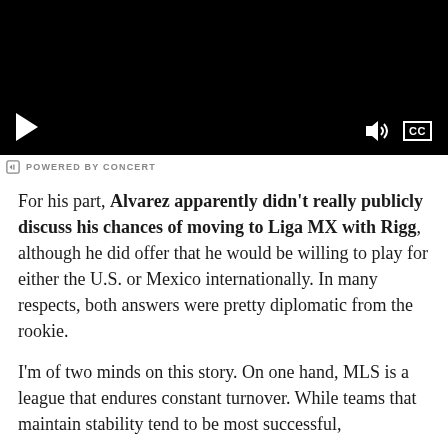[Figure (screenshot): Video player with black background, play button on lower left, volume and CC controls on lower right]
POWERED BY CONCERT
For his part, Alvarez apparently didn't really publicly discuss his chances of moving to Liga MX with Rigg, although he did offer that he would be willing to play for either the U.S. or Mexico internationally. In many respects, both answers were pretty diplomatic from the rookie.
I'm of two minds on this story. On one hand, MLS is a league that endures constant turnover. While teams that maintain stability tend to be most successful,